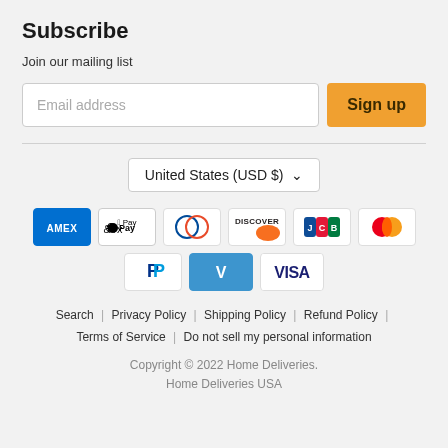Subscribe
Join our mailing list
Email address | Sign up
United States (USD $)
[Figure (other): Payment method icons: American Express, Apple Pay, Diners Club, Discover, JCB, Mastercard, PayPal, Venmo, Visa]
Search | Privacy Policy | Shipping Policy | Refund Policy | Terms of Service | Do not sell my personal information
Copyright © 2022 Home Deliveries. Home Deliveries USA